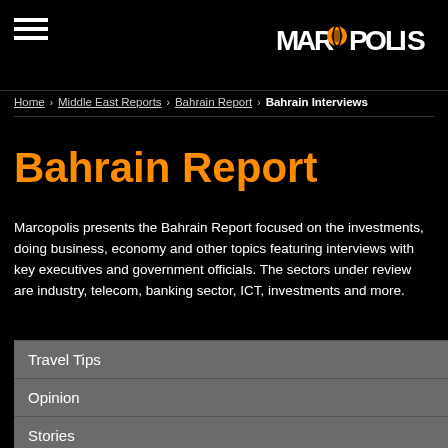[Figure (logo): Marcopolis logo with orange stylized globe in text on black background]
Home > Middle East Reports > Bahrain Report > Bahrain Interviews
Bahrain Report
Marcopolis presents the Bahrain Report focused on the investments, doing business, economy and other topics featuring interviews with key executives and government officials. The sectors under review are industry, telecom, banking sector, ICT, investments and more.
Travel Tips
Opinion
Stories